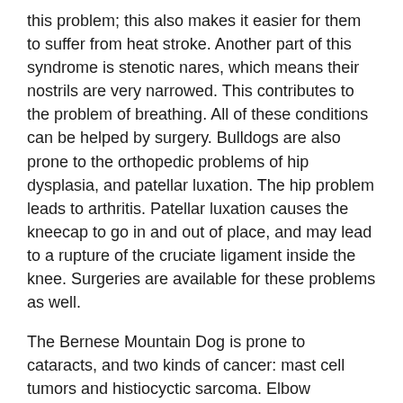this problem; this also makes it easier for them to suffer from heat stroke. Another part of this syndrome is stenotic nares, which means their nostrils are very narrowed. This contributes to the problem of breathing. All of these conditions can be helped by surgery. Bulldogs are also prone to the orthopedic problems of hip dysplasia, and patellar luxation. The hip problem leads to arthritis. Patellar luxation causes the kneecap to go in and out of place, and may lead to a rupture of the cruciate ligament inside the knee. Surgeries are available for these problems as well.
The Bernese Mountain Dog is prone to cataracts, and two kinds of cancer: mast cell tumors and histiocyctic sarcoma. Elbow dysplasia is a very common problem, this leads to arthritis of the elbow. Gastric torsion is more common in this breed. This where the stomach twists on itself, cutting off the blood supply to the stomach. Even with emergency surgery there is still a significant mortality rate.
The Rottweiler is predisposed to elbow dysplasia, gastric